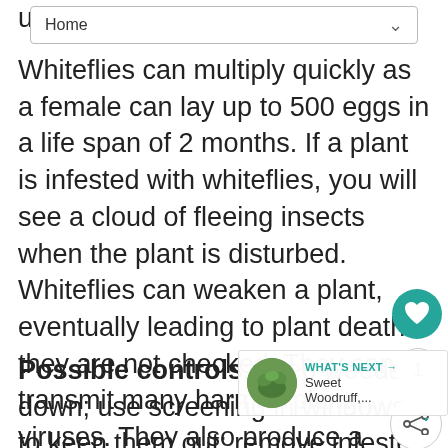Home
un... Whiteflies can multiply quickly as a female can lay up to 500 eggs in a life span of 2 months. If a plant is infested with whiteflies, you will see a cloud of fleeing insects when the plant is disturbed. Whiteflies can weaken a plant, eventually leading to plant death if they are not checked. They can transmit many harmful plant viruses. They also produce a sweet substance called honeydew (coveted by ants) which can lead to an unattractive black surface fungal growth called sooty mold.
Possible controls: keep weeds down; use screening in windows to keep them out; remove infested plants away from non-infested plants; use reflective mulch (aluminum foil)...